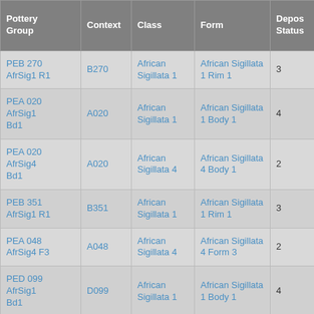| Pottery Group | Context | Class | Form | Depos Status | R Ct | R EVP |
| --- | --- | --- | --- | --- | --- | --- |
| PEB 270 AfrSig1 R1 | B270 | African Sigillata 1 | African Sigillata 1 Rim 1 | 3 | 7 |  |
| PEA 020 AfrSig1 Bd1 | A020 | African Sigillata 1 | African Sigillata 1 Body 1 | 4 |  |  |
| PEA 020 AfrSig4 Bd1 | A020 | African Sigillata 4 | African Sigillata 4 Body 1 | 2 |  |  |
| PEB 351 AfrSig1 R1 | B351 | African Sigillata 1 | African Sigillata 1 Rim 1 | 3 | 1 |  |
| PEA 048 AfrSig4 F3 | A048 | African Sigillata 4 | African Sigillata 4 Form 3 | 2 |  |  |
| PED 099 AfrSig1 Bd1 | D099 | African Sigillata 1 | African Sigillata 1 Body 1 | 4 |  |  |
| PEA 105 |  |  | African |  |  |  |